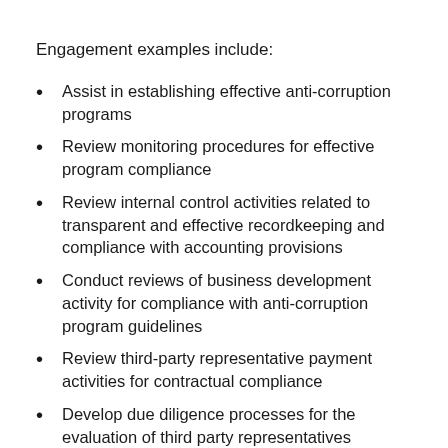Engagement examples include:
Assist in establishing effective anti-corruption programs
Review monitoring procedures for effective program compliance
Review internal control activities related to transparent and effective recordkeeping and compliance with accounting provisions
Conduct reviews of business development activity for compliance with anti-corruption program guidelines
Review third-party representative payment activities for contractual compliance
Develop due diligence processes for the evaluation of third party representatives
Enhance training and establish guidelines for appropriate participants